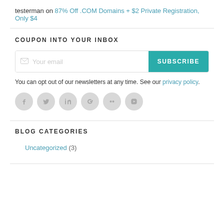testerman on 87% Off .COM Domains + $2 Private Registration, Only $4
COUPON INTO YOUR INBOX
You can opt out of our newsletters at any time. See our privacy policy.
[Figure (infographic): Six circular social media icon buttons (Facebook, Twitter, LinkedIn, Google+, Flickr, YouTube) in light gray]
BLOG CATEGORIES
Uncategorized (3)